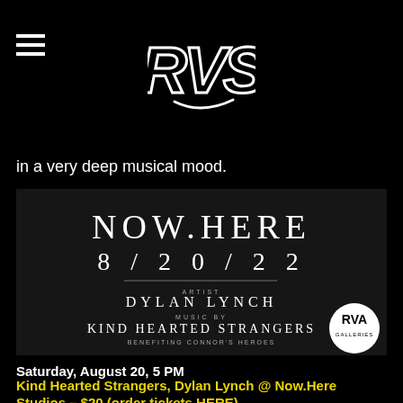RVS logo with hamburger menu
in a very deep musical mood.
[Figure (photo): Event poster for NOW.HERE 8/20/22 featuring artist Dylan Lynch, music by Kind Hearted Strangers, benefiting Connor's Heroes. Dark textured background with white text and RVA Galleries logo in bottom right.]
Saturday, August 20, 5 PM
Kind Hearted Strangers, Dylan Lynch @ Now.Here Studios – $20 (order tickets HERE)
Here's a unique and intriguing artistic event that isn't that